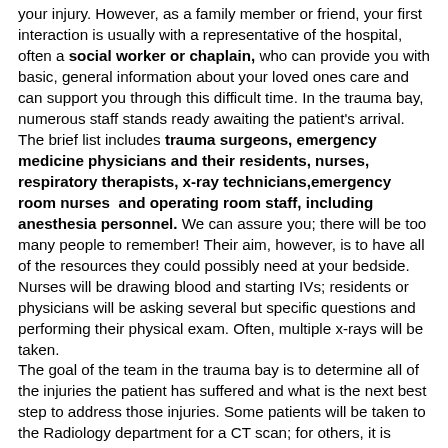your injury. However, as a family member or friend, your first interaction is usually with a representative of the hospital, often a social worker or chaplain, who can provide you with basic, general information about your loved ones care and can support you through this difficult time. In the trauma bay, numerous staff stands ready awaiting the patient's arrival. The brief list includes trauma surgeons, emergency medicine physicians and their residents, nurses, respiratory therapists, x-ray technicians, emergency room nurses and operating room staff, including anesthesia personnel. We can assure you; there will be too many people to remember! Their aim, however, is to have all of the resources they could possibly need at your bedside. Nurses will be drawing blood and starting IVs; residents or physicians will be asking several but specific questions and performing their physical exam. Often, multiple x-rays will be taken. The goal of the team in the trauma bay is to determine all of the injuries the patient has suffered and what is the next best step to address those injuries. Some patients will be taken to the Radiology department for a CT scan; for others, it is directly to the operating room; some will be taken to the Intensive Care Unit (ICU) for close observation, IV fluids, blood, and further testing. For family members and friends,